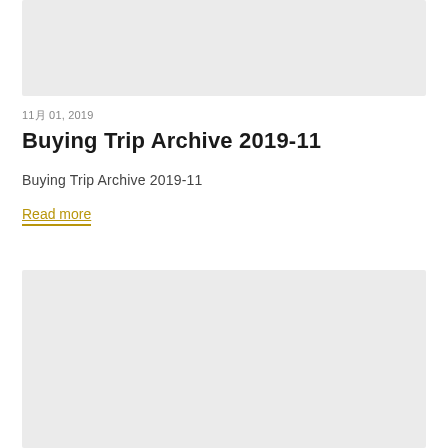[Figure (photo): Light gray placeholder image block at top of page]
11月 01, 2019
Buying Trip Archive 2019-11
Buying Trip Archive 2019-11
Read more
[Figure (photo): Light gray placeholder image block at bottom of page]